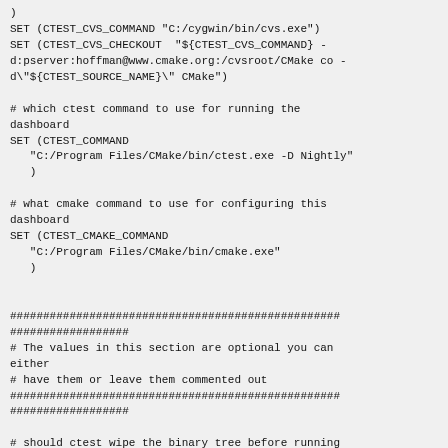SET (CTEST_CVS_COMMAND "C:/cygwin/bin/cvs.exe")
SET (CTEST_CVS_CHECKOUT  "${CTEST_CVS_COMMAND} -d:pserver:hoffman@www.cmake.org:/cvsroot/CMake co -d\"${CTEST_SOURCE_NAME}\" CMake")

# which ctest command to use for running the dashboard
SET (CTEST_COMMAND
   "C:/Program Files/CMake/bin/ctest.exe -D Nightly"
   )

# what cmake command to use for configuring this dashboard
SET (CTEST_CMAKE_COMMAND
   "C:/Program Files/CMake/bin/cmake.exe"
   )


##################################################
##################
# The values in this section are optional you can either
# have them or leave them commented out
##################################################
##################

# should ctest wipe the binary tree before running
SET (CTEST_START_WITH_EMPTY_BINARY_DIRECTORY TRUE)

# this is the initial cache to use for the binary tree, be careful to escape